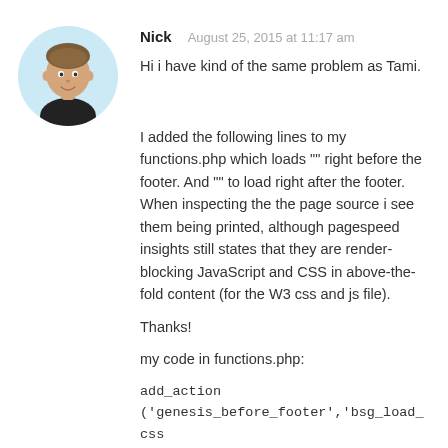[Figure (photo): Circular avatar photo of a young man wearing a black t-shirt, against a light blue background.]
Nick
August 25, 2015 at 11:17 am
Hi i have kind of the same problem as Tami.
I added the following lines to my functions.php which loads "" right before the footer. And "" to load right after the footer. When inspecting the the page source i see them being printed, although pagespeed insights still states that they are render-blocking JavaScript and CSS in above-the-fold content (for the W3 css and js file).
Thanks!
my code in functions.php:
add_action ('genesis_before_footer','bsg_load_css_to_footer', 4 );
function bsg_load_css_to_footer() {
echo "";